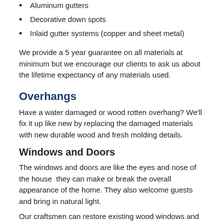Aluminum gutters
Decorative down spots
Inlaid gutter systems (copper and sheet metal)
We provide a 5 year guarantee on all materials at minimum but we encourage our clients to ask us about the lifetime expectancy of any materials used.
Overhangs
Have a water damaged or wood rotten overhang? We'll fix it up like new by replacing the damaged materials with new durable wood and fresh molding details.
Windows and Doors
The windows and doors are like the eyes and nose of the house  they can make or break the overall appearance of the home. They also welcome guests and bring in natural light.
Our craftsmen can restore existing wood windows and doors or replace them with new ones that match the original quality and